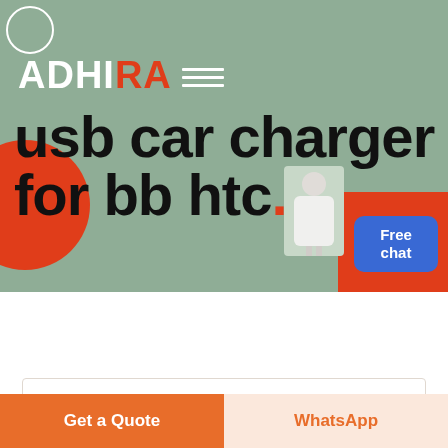[Figure (screenshot): Website banner with sage green background, ADHIRA logo in white and red, decorative red circle and rectangle, person graphic, free chat button, and bold headline 'usb car charger for bb htc.']
Welcome to the mining equipment production
Get a Quote
WhatsApp